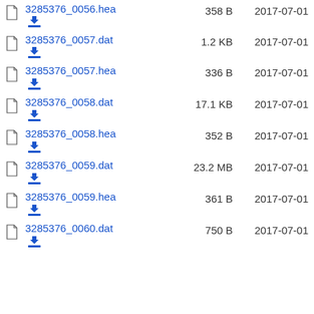3285376_0056.hea  358 B  2017-07-01
3285376_0057.dat  1.2 KB  2017-07-01
3285376_0057.hea  336 B  2017-07-01
3285376_0058.dat  17.1 KB  2017-07-01
3285376_0058.hea  352 B  2017-07-01
3285376_0059.dat  23.2 MB  2017-07-01
3285376_0059.hea  361 B  2017-07-01
3285376_0060.dat  750 B  2017-07-01